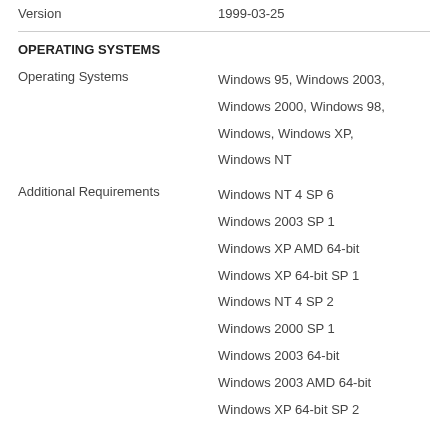Version	1999-03-25
OPERATING SYSTEMS
Operating Systems	Windows 95, Windows 2003, Windows 2000, Windows 98, Windows, Windows XP, Windows NT
Additional Requirements	Windows NT 4 SP 6
Windows 2003 SP 1
Windows XP AMD 64-bit
Windows XP 64-bit SP 1
Windows NT 4 SP 2
Windows 2000 SP 1
Windows 2003 64-bit
Windows 2003 AMD 64-bit
Windows XP 64-bit SP 2